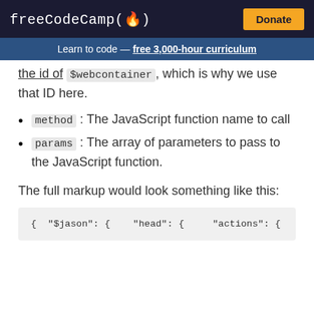freeCodeCamp(🔥)  Donate
Learn to code — free 3,000-hour curriculum
the id of $webcontainer, which is why we use that ID here.
method : The JavaScript function name to call
params : The array of parameters to pass to the JavaScript function.
The full markup would look something like this:
{	"$jason": {	"head": {	"actions": {